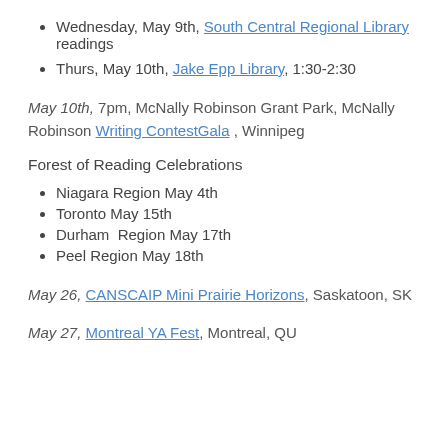Wednesday, May 9th, South Central Regional Library readings
Thurs, May 10th, Jake Epp Library, 1:30-2:30
May 10th, 7pm, McNally Robinson Grant Park, McNally Robinson Writing ContestGala , Winnipeg
Forest of Reading Celebrations
Niagara Region May 4th
Toronto May 15th
Durham  Region May 17th
Peel Region May 18th
May 26, CANSCAIP Mini Prairie Horizons, Saskatoon, SK
May 27, Montreal YA Fest, Montreal, QU